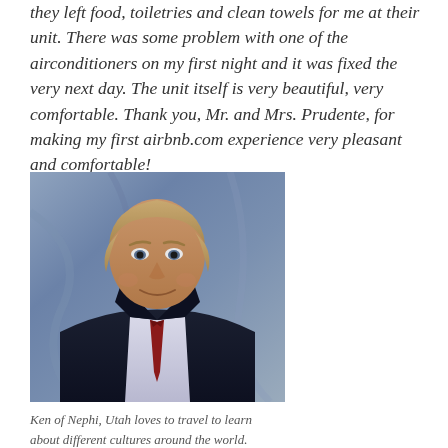they left food, toiletries and clean towels for me at their unit. There was some problem with one of the airconditioners on my first night and it was fixed the very next day. The unit itself is very beautiful, very comfortable. Thank you, Mr. and Mrs. Prudente, for making my first airbnb.com experience very pleasant and comfortable!
[Figure (photo): Portrait photo of a middle-aged man with light brown hair, wearing a dark suit jacket and tie, smiling, with a grey curtain/fabric background.]
Ken of Nephi, Utah loves to travel to learn about different cultures around the world.